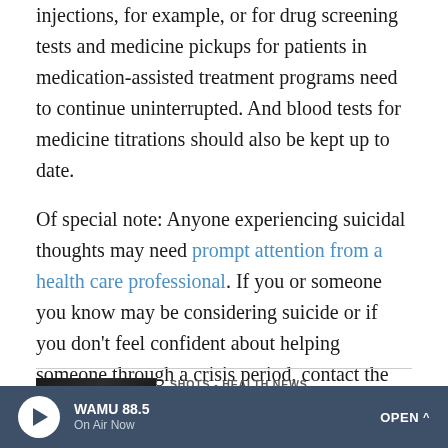injections, for example, or for drug screening tests and medicine pickups for patients in medication-assisted treatment programs need to continue uninterrupted. And blood tests for medicine titrations should also be kept up to date.
Of special note: Anyone experiencing suicidal thoughts may need prompt attention from a health care professional. If you or someone you know may be considering suicide or if you don't feel confident about helping someone through a crisis period, contact the National Suicide Prevention Lifeline at 1-800-273-8255.
SHOTS - HEALTH NEWS
Pandemic's Emotional Hammer Hits Hard
[Figure (photo): Dark/night photograph used as thumbnail for article]
WAMU 88.5 On Air Now OPEN